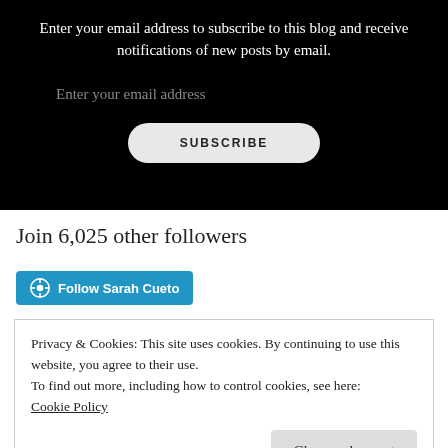Enter your email address to subscribe to this blog and receive notifications of new posts by email.
Enter your email address
SUBSCRIBE
Join 6,025 other followers
[Figure (other): Follow Sarah Cueto button with WordPress logo]
Privacy & Cookies: This site uses cookies. By continuing to use this website, you agree to their use.
To find out more, including how to control cookies, see here:
Cookie Policy
Close and accept